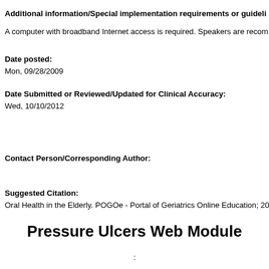Additional information/Special implementation requirements or guideli
A computer with broadband Internet access is required. Speakers are recom
Date posted:
Mon, 09/28/2009
Date Submitted or Reviewed/Updated for Clinical Accuracy:
Wed, 10/10/2012
Contact Person/Corresponding Author:
Suggested Citation:
Oral Health in the Elderly. POGOe - Portal of Geriatrics Online Education; 200
Pressure Ulcers Web Module
: